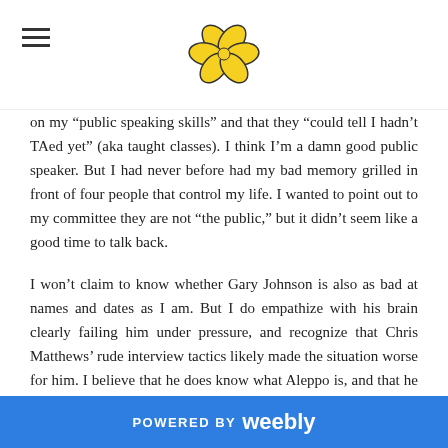[navigation menu icon and flower logo]
on my “public speaking skills” and that they “could tell I hadn’t TAed yet” (aka taught classes). I think I’m a damn good public speaker. But I had never before had my bad memory grilled in front of four people that control my life. I wanted to point out to my committee they are not “the public,” but it didn’t seem like a good time to talk back.
I won’t claim to know whether Gary Johnson is also as bad at names and dates as I am. But I do empathize with his brain clearly failing him under pressure, and recognize that Chris Matthews’ rude interview tactics likely made the situation worse for him. I believe that he does know what Aleppo is, and that he really respects the Mexican president. Whatever his name is.
Of course, no comment on whether Gary’s brain-failing renders him unfit to be president. I think it’s much more important for the
POWERED BY weebly